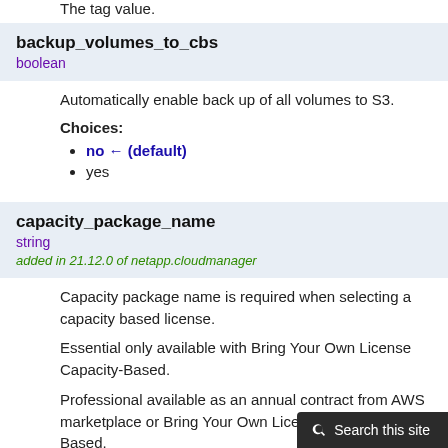The tag value.
backup_volumes_to_cbs
boolean
Automatically enable back up of all volumes to S3.
Choices:
no ← (default)
yes
capacity_package_name
string
added in 21.12.0 of netapp.cloudmanager
Capacity package name is required when selecting a capacity based license.
Essential only available with Bring Your Own License Capacity-Based.
Professional available as an annual contract from AWS marketplace or Bring Your Own License Capacity-Based.